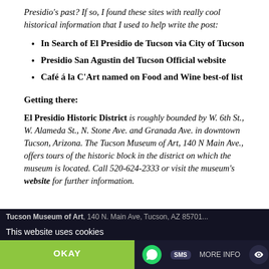Presidio's past? If so, I found these sites with really cool historical information that I used to help write the post:
In Search of El Presidio de Tucson via City of Tucson
Presidio San Agustin del Tucson Official website
Café á la C'Art named on Food and Wine best-of list
Getting there:
El Presidio Historic District is roughly bounded by W. 6th St., W. Alameda St., N. Stone Ave. and Granada Ave. in downtown Tucson, Arizona. The Tucson Museum of Art, 140 N Main Ave., offers tours of the historic block in the district on which the museum is located. Call 520-624-2333 or visit the museum's website for further information.
Tucson Museum of Art, 140 N. Main Ave, Tucson, AZ 85701
This website uses cookies
OKAY | MORE INFO